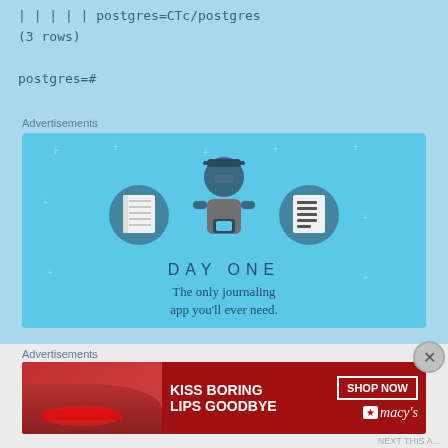| | | | | postgres=CTc/postgres
(3 rows)

postgres=#
Advertisements
[Figure (illustration): Day One journaling app advertisement with blue background, showing icons of a notebook, a person using a phone, and a list/notes icon. Text reads DAY ONE - The only journaling app you'll ever need.]
Advertisements
[Figure (illustration): Macy's advertisement with red background showing a woman's face with red lipstick. Text reads KISS BORING LIPS GOODBYE with SHOP NOW button and Macy's star logo.]